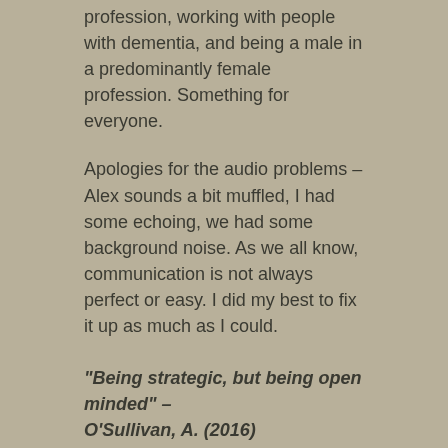profession, working with people with dementia, and being a male in a predominantly female profession. Something for everyone.
Apologies for the audio problems – Alex sounds a bit muffled, I had some echoing, we had some background noise. As we all know, communication is not always perfect or easy. I did my best to fix it up as much as I could.
"Being strategic, but being open minded" – O'Sullivan, A. (2016)
The Brenner model that Emma mentioned: http://www.health.nsw.gov.au/nursing/projects/Documents/novice-expert-benner.pdf